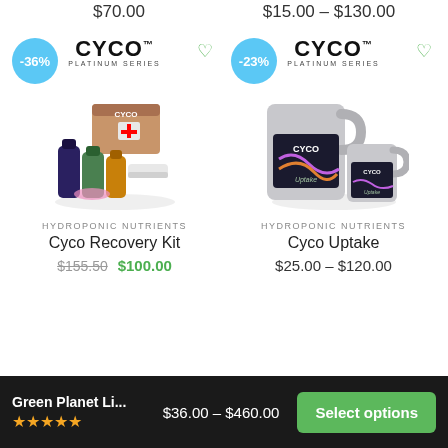$70.00
$15.00 – $130.00
[Figure (photo): Cyco Recovery Kit product photo with multiple bottles and a box, -36% badge]
HYDROPONIC NUTRIENTS
Cyco Recovery Kit
$155.50  $100.00
[Figure (photo): Cyco Uptake product photo with large jugs, -23% badge]
HYDROPONIC NUTRIENTS
Cyco Uptake
$25.00 – $120.00
Green Planet Li...
$36.00 – $460.00
Select options